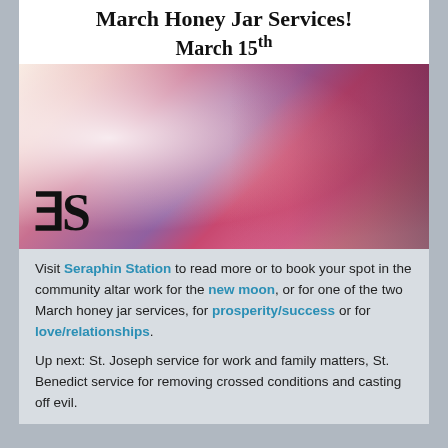March Honey Jar Services! March 15th
[Figure (photo): A colorful photo of an altar/shrine with decorative figures and items in reds and purples, with a bright white light on the left side and a stylized 'SS' or 'eS' logo in black at the bottom left.]
Visit Seraphin Station to read more or to book your spot in the community altar work for the new moon, or for one of the two March honey jar services, for prosperity/success or for love/relationships.
Up next: St. Joseph service for work and family matters, St. Benedict service for removing crossed conditions and casting off evil.